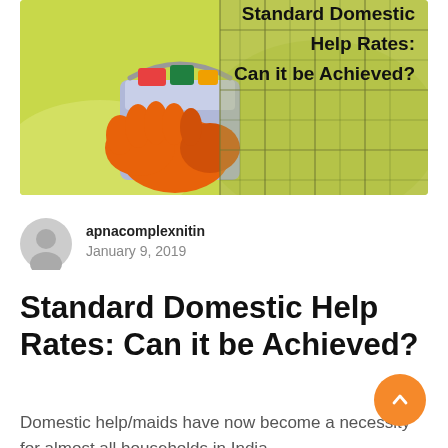[Figure (photo): Hero image showing a person wearing orange rubber gloves holding a blue cleaning bucket with sponges and cleaning supplies, set against a yellow-green background. Overlaid text reads 'Standard Domestic Help Rates: Can it be Achieved?']
apnacomplexnitin
January 9, 2019
Standard Domestic Help Rates: Can it be Achieved?
Domestic help/maids have now become a necessity for almost all households in India.